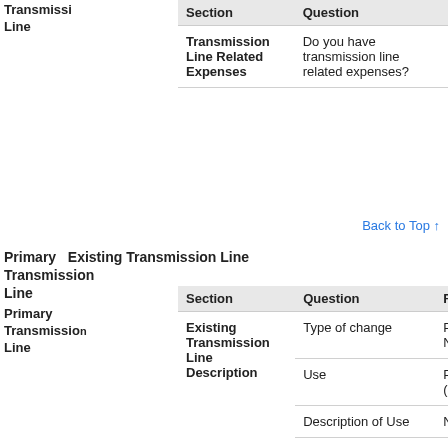| Section | Question | Response |
| --- | --- | --- |
| Transmission Line Related Expenses | Do you have transmission line related expenses? | Yes |
Back to Top ↑
Primary Transmission Line
Primary Transmission Line
| Section | Question | Response |
| --- | --- | --- |
| Existing Transmission Line Description | Type of change | Purchase New |
|  | Use | Primary (Main) |
|  | Description of Use | N/A |
|  | Ownership | Owned |
|  | Owner | N/A |